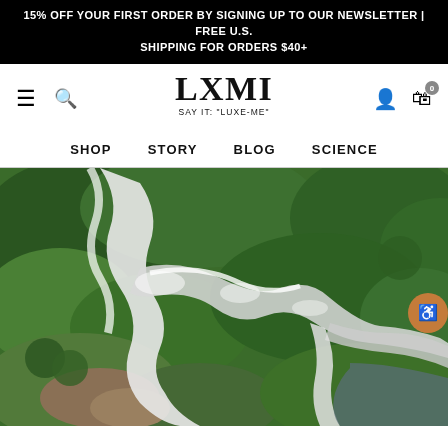15% OFF YOUR FIRST ORDER BY SIGNING UP TO OUR NEWSLETTER | FREE U.S. SHIPPING FOR ORDERS $40+
[Figure (logo): LXMI logo with tagline SAY IT: "LUXE-ME"]
SHOP   STORY   BLOG   SCIENCE
[Figure (photo): Aerial view of a winding white-water river or waterfall through dense green forest and rocky terrain, photographed from above.]